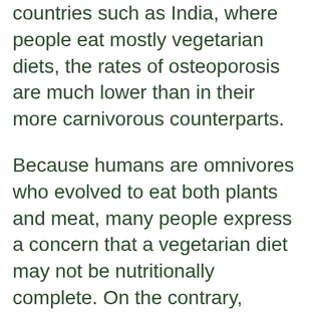countries such as India, where people eat mostly vegetarian diets, the rates of osteoporosis are much lower than in their more carnivorous counterparts.
Because humans are omnivores who evolved to eat both plants and meat, many people express a concern that a vegetarian diet may not be nutritionally complete. On the contrary, however, vegetarians can absolutely get all the nutrients they need from the food they eat. Modern